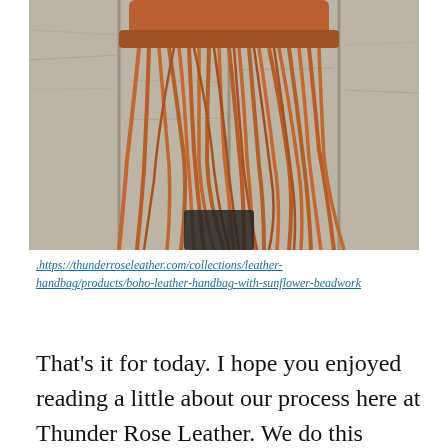[Figure (photo): A brown leather fringe handbag with long leather tassels/fringe hanging down, displayed against a weathered grey wooden fence background.]
.https://thunderroseleather.com/collections/leather-handbag/products/boho-leather-handbag-with-sunflower-beadwork
That's it for today. I hope you enjoyed reading a little about our process here at Thunder Rose Leather. We do this